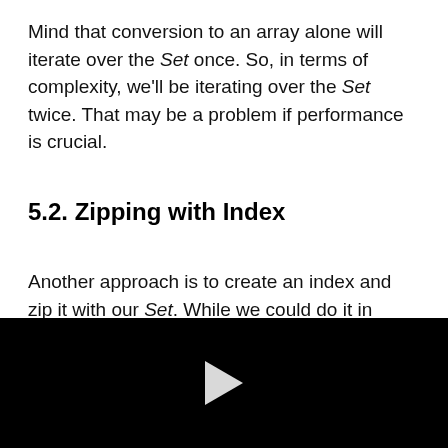Mind that conversion to an array alone will iterate over the Set once. So, in terms of complexity, we'll be iterating over the Set twice. That may be a problem if performance is crucial.
5.2. Zipping with Index
Another approach is to create an index and zip it with our Set. While we could do it in
[Figure (other): Black video player area with a white play button triangle in the center]